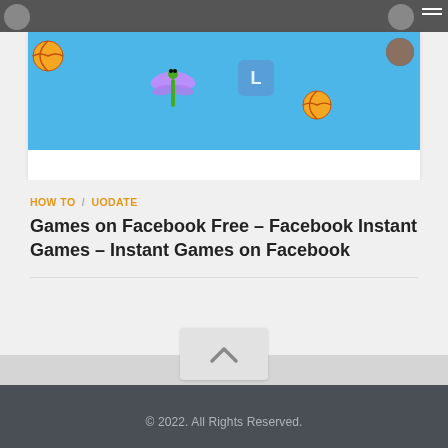[Figure (screenshot): Website screenshot showing a card with a colorful banner image featuring basketballs, a dragonfly, and a letter L tile on a blue background. Top navigation bar partially visible with logo, avatar, and hamburger menu.]
HOW TO / UODATE
Games on Facebook Free – Facebook Instant Games – Instant Games on Facebook
© 2022. All Rights Reserved.
Powered by [WordPress] - Designed with the Hueman theme